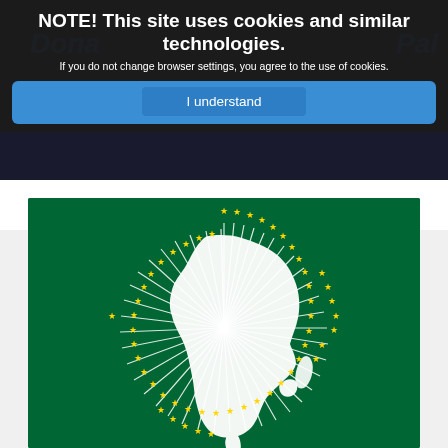NOTE! This site uses cookies and similar technologies. If you do not change browser settings, you agree to the use of cookies.
I understand
[Figure (illustration): African Union flag: green background with the emblem showing a white outline map of Africa with radiating lines, surrounded by a circle of gold/yellow stars]